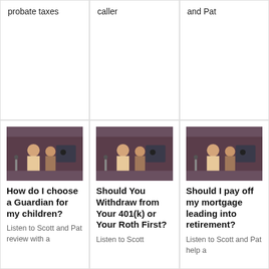probate taxes
caller
and Pat
[Figure (photo): Two men sitting at a radio broadcast desk with microphones and equipment]
How do I choose a Guardian for my children?
Listen to Scott and Pat review with a
[Figure (photo): Two men sitting at a radio broadcast desk with microphones and equipment]
Should You Withdraw from Your 401(k) or Your Roth First?
Listen to Scott
[Figure (photo): Two men sitting at a radio broadcast desk with microphones and equipment]
Should I pay off my mortgage leading into retirement?
Listen to Scott and Pat help a